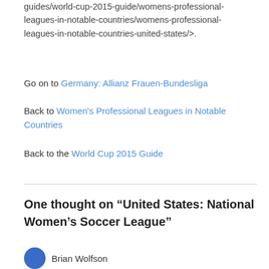guides/world-cup-2015-guide/womens-professional-leagues-in-notable-countries/womens-professional-leagues-in-notable-countries-united-states/>.
Go on to Germany: Allianz Frauen-Bundesliga
Back to Women's Professional Leagues in Notable Countries
Back to the World Cup 2015 Guide
One thought on “United States: National Women’s Soccer League”
Brian Wolfson